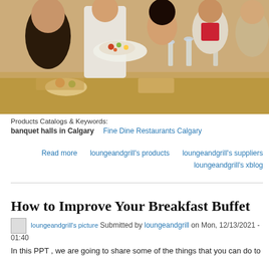[Figure (photo): People dining at a restaurant table; a server in white chef attire presents a platter of food to seated guests with wine glasses and food on the table.]
Products Catalogs & Keywords:
banquet halls in Calgary    Fine Dine Restaurants Calgary
Read more    loungeandgrill's products    loungeandgrill's suppliers
loungeandgrill's xblog
How to Improve Your Breakfast Buffet
loungeandgrill's picture  Submitted by loungeandgrill on Mon, 12/13/2021 - 01:40
In this PPT , we are going to share some of the things that you can do to